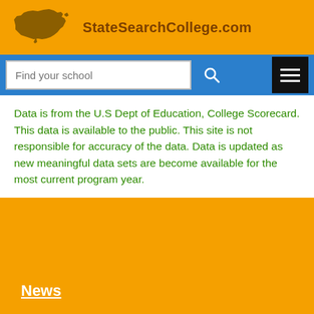StateSearchCollege.com
Data is from the U.S Dept of Education, College Scorecard. This data is available to the public. This site is not responsible for accuracy of the data. Data is updated as new meaningful data sets are become available for the most current program year.
News